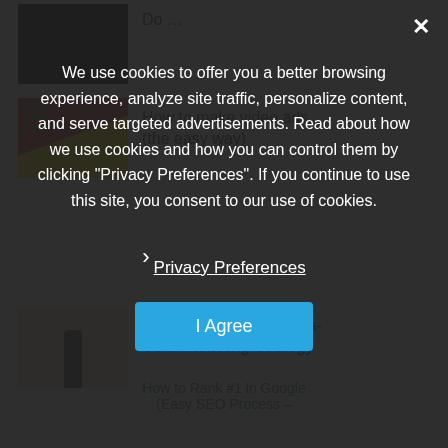Do …
[Figure (photo): Thumbnail image dark background]
How to make video ads (the easy way)
[Figure (photo): Yellow thumbnail with man in red shirt - How to make a video ad (the easy way)]
The Secret Behind Coca-Cola Marketing Strategy
[Figure (photo): Beige thumbnail with bottle silhouette]
We use cookies to offer you a better browsing experience, analyze site traffic, personalize content, and serve targeted advertisements. Read about how we use cookies and how you can control them by clicking "Privacy Preferences". If you continue to use this site, you consent to our use of cookies.
❯ Privacy Preferences
I Agree